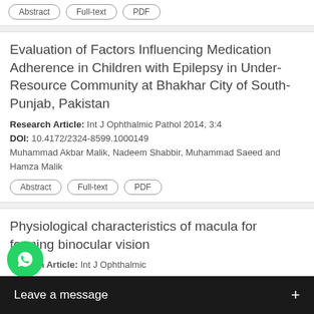[pill buttons: Abstract, Full-text, PDF] (top partial card)
Evaluation of Factors Influencing Medication Adherence in Children with Epilepsy in Under-Resource Community at Bhakhar City of South-Punjab, Pakistan
Research Article: Int J Ophthalmic Pathol 2014, 3:4
DOI: 10.4172/2324-8599.1000149
Muhammad Akbar Malik, Nadeem Shabbir, Muhammad Saeed and Hamza Malik
Abstract | Full-text | PDF
Physiological characteristics of macula for forming binocular vision
Opinion Article: Int J Ophthalmic
DOI:
[...] Sabbineni
Abstract | Full-text | PDF
Con[tinued...]
[Figure (screenshot): WhatsApp floating chat button overlay with 'Leave a message +' dark bar at the bottom of the screen]